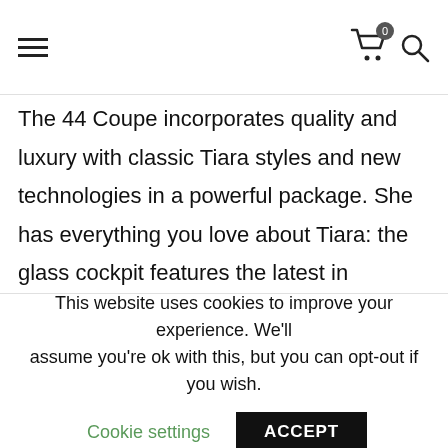Navigation bar with hamburger menu, cart (0), and search icons
The 44 Coupe incorporates quality and luxury with classic Tiara styles and new technologies in a powerful package. She has everything you love about Tiara: the glass cockpit features the latest in navigation and operating technologies, including Garmin® electronics and Volvo Penta's effortless joystick control. The yacht-wide audio system allows zone specific volume controls and comes with USB/MP3 and integrated bluetooth, 19" and 29" LCD TVs, Blu-Ray DVD player, Bose® Soundlink® portable bluetooth speaker system. Advanced LED
This website uses cookies to improve your experience. We'll assume you're ok with this, but you can opt-out if you wish.
Cookie settings    ACCEPT